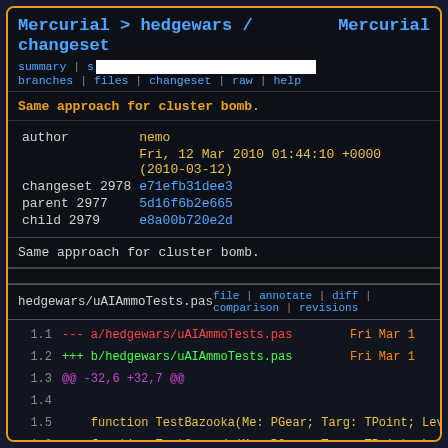Mercurial > hedgewars / changeset    Mercurial
summary | s[search bar] branches | files | changeset | raw | help
Same approach for cluster bomb.
| author | nemo |  |
|  | Fri, 12 Mar 2010 01:44:10 +0000 (2010-03-12) |  |
| changeset 2978 | e71efb31dee3 |  |
| parent 2977 | 5d16f6b2e665 |  |
| child 2979 | e8a00b720e2d |  |
Same approach for cluster bomb.
hedgewars/uAIAmmoTests.pas    file | annotate | diff | comparison | revisions
1.1   --- a/hedgewars/uAIAmmoTests.pas    Fri Mar 12
1.2   +++ b/hedgewars/uAIAmmoTests.pas    Fri Mar 12
1.3   @@ -32,6 +32,7 @@
1.4
1.5       function TestBazooka(Me: PGear; Targ: TPoint; Leve
1.6       function TestGrenade(Me: PGear; Targ: TPoint; Leve
1.7   +function TestClusterBomb(Me: PGear; Targ: TPoint